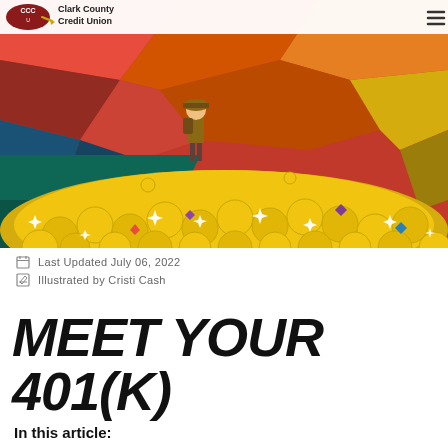[Figure (illustration): Clark County Credit Union logo with oval emblem and text, hamburger menu icon on right, overlaid on hero illustration of a character standing on a dark platform above a large pile of gold coins with sparkles and colorful gems, set against a geometric polygonal orange/red/teal background.]
Last Updated July 06, 2022
Illustrated by Cristi Cash
MEET YOUR 401(K)
In this article: